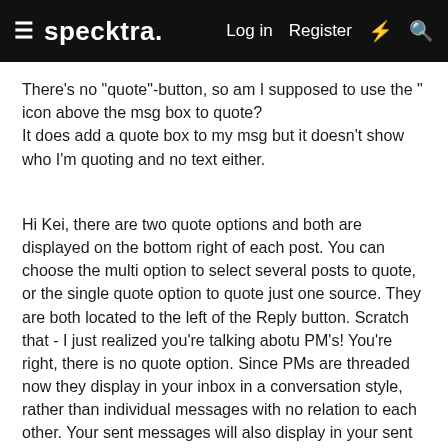specktra. | Log in | Register
There's no "quote"-button, so am I supposed to use the " icon above the msg box to quote?
It does add a quote box to my msg but it doesn't show who I'm quoting and no text either.
Hi Kei, there are two quote options and both are displayed on the bottom right of each post. You can choose the multi option to select several posts to quote, or the single quote option to quote just one source. They are both located to the left of the Reply button. Scratch that - I just realized you're talking abotu PM's! You're right, there is no quote option. Since PMs are threaded now they display in your inbox in a conversation style, rather than individual messages with no relation to each other. Your sent messages will also display in your sent folder. On the new system, all users can store unlimited numbers of messages!